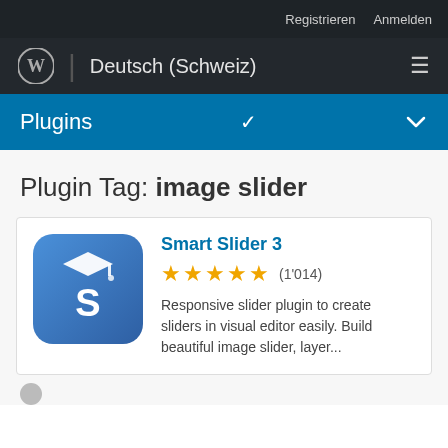Registrieren   Anmelden
WordPress | Deutsch (Schweiz)
Plugins
Plugin Tag: image slider
[Figure (screenshot): Smart Slider 3 plugin logo: blue rounded square with graduation cap and S letter icon]
Smart Slider 3
★★★★★ (1'014)
Responsive slider plugin to create sliders in visual editor easily. Build beautiful image slider, layer...